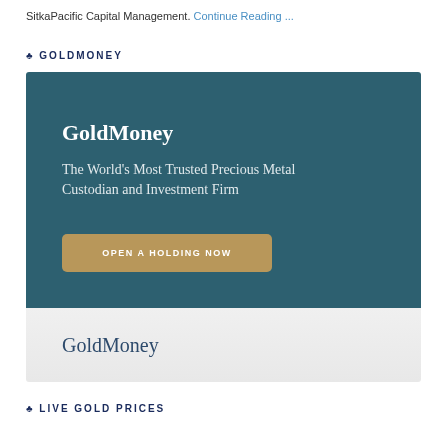SitkaPacific Capital Management. Continue Reading ...
♣ GOLDMONEY
[Figure (illustration): GoldMoney advertisement banner. Top section: dark teal background with white bold text 'GoldMoney', tagline 'The World's Most Trusted Precious Metal Custodian and Investment Firm', and a gold/tan button labeled 'OPEN A HOLDING NOW'. Bottom section: light gray background with 'GoldMoney' text in dark blue serif font, with a gold bottom border.]
♣ LIVE GOLD PRICES